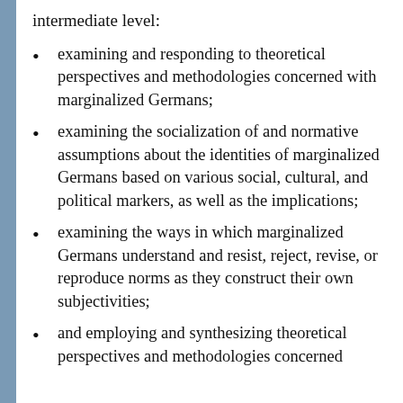intermediate level:
examining and responding to theoretical perspectives and methodologies concerned with marginalized Germans;
examining the socialization of and normative assumptions about the identities of marginalized Germans based on various social, cultural, and political markers, as well as the implications;
examining the ways in which marginalized Germans understand and resist, reject, revise, or reproduce norms as they construct their own subjectivities;
and employing and synthesizing theoretical perspectives and methodologies concerned with marginalized Germans in all corners and